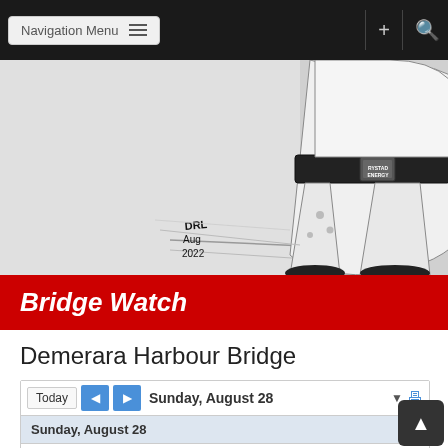Navigation Menu
[Figure (illustration): Black and white political cartoon/illustration showing a figure from the waist down wearing a belt buckle labeled 'RYSTAD ENERGY', signed DRL Aug 2022]
Bridge Watch
Demerara Harbour Bridge
| Day | Time | Event Time |
| --- | --- | --- |
| Sunday, August 28 | 3:30am | 03:30 |
| Monday, August 29 | 4:00am | 04:00 |
Events shown in time zone: Guyana Time